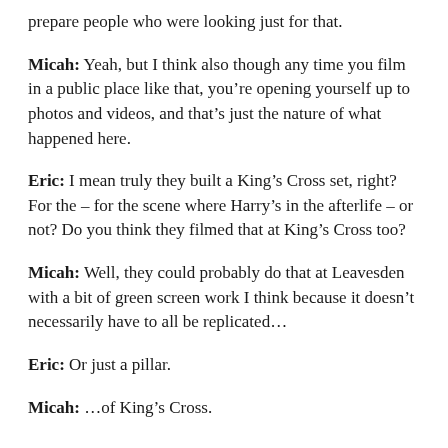prepare people who were looking just for that.
Micah: Yeah, but I think also though any time you film in a public place like that, you're opening yourself up to photos and videos, and that's just the nature of what happened here.
Eric: I mean truly they built a King's Cross set, right? For the – for the scene where Harry's in the afterlife – or not? Do you think they filmed that at King's Cross too?
Micah: Well, they could probably do that at Leavesden with a bit of green screen work I think because it doesn't necessarily have to all be replicated…
Eric: Or just a pillar.
Micah: …of King's Cross.